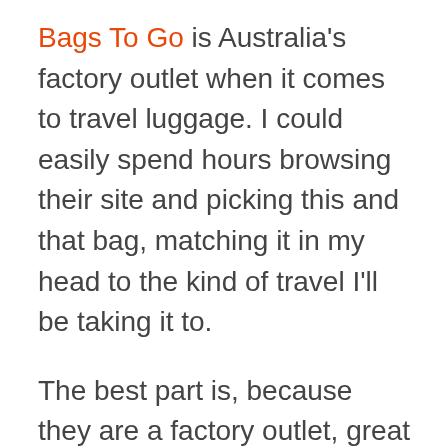Bags To Go is Australia's factory outlet when it comes to travel luggage. I could easily spend hours browsing their site and picking this and that bag, matching it in my head to the kind of travel I'll be taking it to.
The best part is, because they are a factory outlet, great travel luggage brands like Victorinox and Samsonite are always on sale, even the latest models.
Here are my picks from the site, and where I'll be taking the bags (or where I've taken